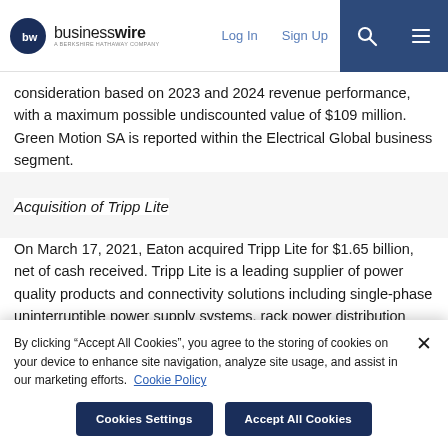businesswire — A BERKSHIRE HATHAWAY COMPANY | Log In | Sign Up
consideration based on 2023 and 2024 revenue performance, with a maximum possible undiscounted value of $109 million. Green Motion SA is reported within the Electrical Global business segment.
Acquisition of Tripp Lite
On March 17, 2021, Eaton acquired Tripp Lite for $1.65 billion, net of cash received. Tripp Lite is a leading supplier of power quality products and connectivity solutions including single-phase uninterruptible power supply systems, rack power distribution units,
By clicking “Accept All Cookies”, you agree to the storing of cookies on your device to enhance site navigation, analyze site usage, and assist in our marketing efforts. Cookie Policy
Cookies Settings | Accept All Cookies